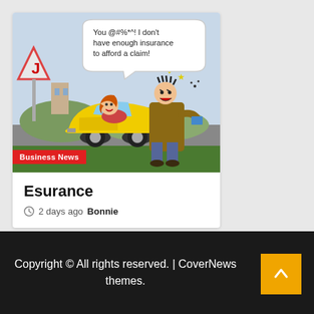[Figure (illustration): Cartoon illustration showing a road accident scene. A woman in a yellow convertible car is yelling, and an angry man in a brown coat is shouting with a speech bubble reading 'You @#%*^! I don't have enough insurance to afford a claim!'. There is a road sign in the background. A 'Business News' badge is overlaid at the bottom left of the image.]
Esurance
2 days ago  Bonnie
Copyright © All rights reserved. | CoverNews themes.